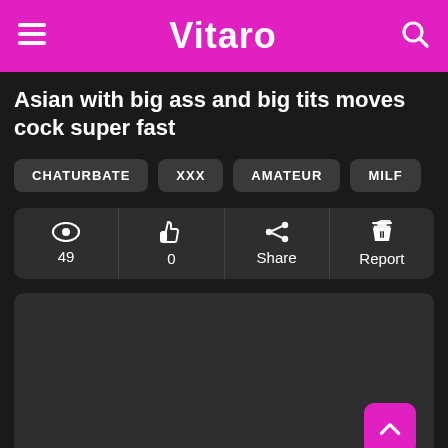Vitaro
Asian with big ass and big tits moves cock super fast
CHATURBATE
XXX
AMATEUR
MILF
| Views | Likes | Share | Report |
| --- | --- | --- | --- |
| 49 | 0 | Share | Report |
[Figure (other): Dark video player placeholder area]